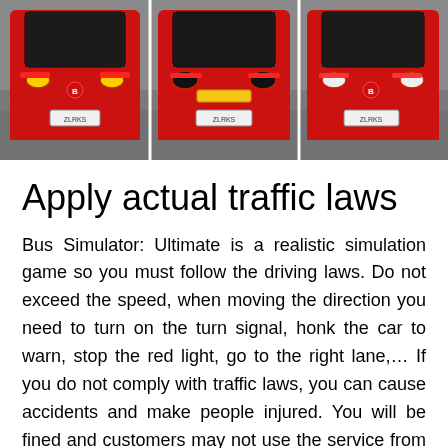[Figure (photo): Three red buses shown from the front, side by side on asphalt. Each bus has visible headlights, a license plate area, and red bodywork. There appears to be a yellow hazard marking visible near the middle bus.]
Apply actual traffic laws
Bus Simulator: Ultimate is a realistic simulation game so you must follow the driving laws. Do not exceed the speed, when moving the direction you need to turn on the turn signal, honk the car to warn, stop the red light, go to the right lane,… If you do not comply with traffic laws, you can cause accidents and make people injured. You will be fined and customers may not use the service from your carmaker anymore. Racing games require speed and recklessness, but driving games exploit the player's focus, patience and